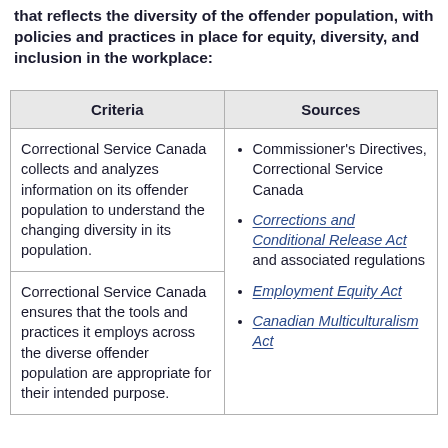that reflects the diversity of the offender population, with policies and practices in place for equity, diversity, and inclusion in the workplace:
| Criteria | Sources |
| --- | --- |
| Correctional Service Canada collects and analyzes information on its offender population to understand the changing diversity in its population. | • Commissioner's Directives, Correctional Service Canada
• Corrections and Conditional Release Act and associated regulations
• Employment Equity Act
• Canadian Multiculturalism Act |
| Correctional Service Canada ensures that the tools and practices it employs across the diverse offender population are appropriate for their intended purpose. |  |